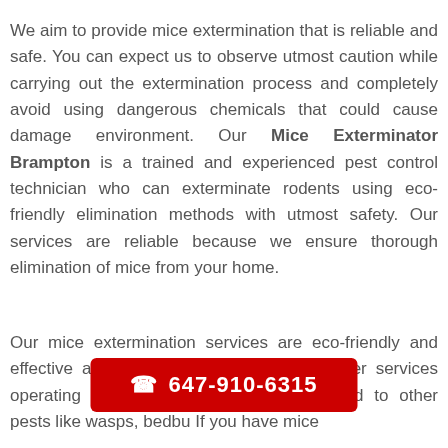We aim to provide mice extermination that is reliable and safe. You can expect us to observe utmost caution while carrying out the extermination process and completely avoid using dangerous chemicals that could cause damage environment. Our Mice Exterminator Brampton is a trained and experienced pest control technician who can exterminate rodents using eco-friendly elimination methods with utmost safety. Our services are reliable because we ensure thorough elimination of mice from your home.
Our mice extermination services are eco-friendly and effective and we charge less than any other services operating nearby. Our services also extend to other pests like wasps, bedbu... If you have mice
[Figure (other): Red call-to-action button with phone icon and number 647-910-6315]